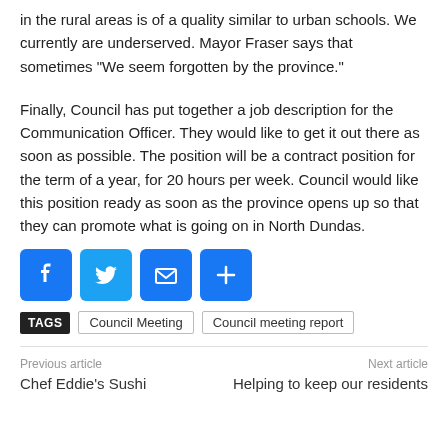in the rural areas is of a quality similar to urban schools. We currently are underserved. Mayor Fraser says that sometimes "We seem forgotten by the province."
Finally, Council has put together a job description for the Communication Officer. They would like to get it out there as soon as possible. The position will be a contract position for the term of a year, for 20 hours per week. Council would like this position ready as soon as the province opens up so that they can promote what is going on in North Dundas.
[Figure (other): Social sharing buttons: Facebook, Twitter, Email, Share]
TAGS   Council Meeting   Council meeting report
Previous article   Chef Eddie's Sushi   Next article   Helping to keep our residents